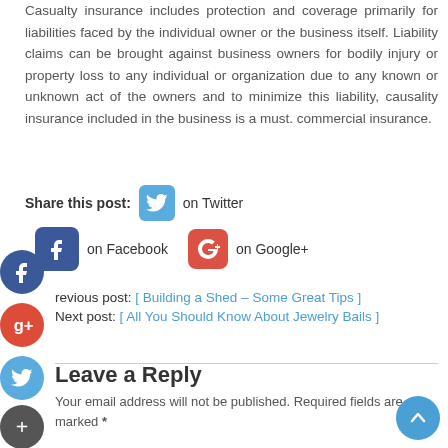Casualty insurance includes protection and coverage primarily for liabilities faced by the individual owner or the business itself. Liability claims can be brought against business owners for bodily injury or property loss to any individual or organization due to any known or unknown act of the owners and to minimize this liability, causality insurance included in the business is a must. commercial insurance.
Share this post:  on Twitter  on Facebook  on Google+
Previous post: [ Building a Shed – Some Great Tips ]
Next post: [ All You Should Know About Jewelry Bails ]
Leave a Reply
Your email address will not be published. Required fields are marked *